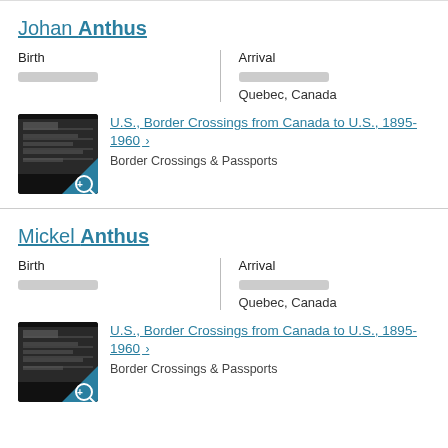Johan Anthus
Birth | Arrival
[redacted] | [redacted]
Quebec, Canada
U.S., Border Crossings from Canada to U.S., 1895-1960 > Border Crossings & Passports
Mickel Anthus
Birth | Arrival
[redacted] | [redacted]
Quebec, Canada
U.S., Border Crossings from Canada to U.S., 1895-1960 > Border Crossings & Passports